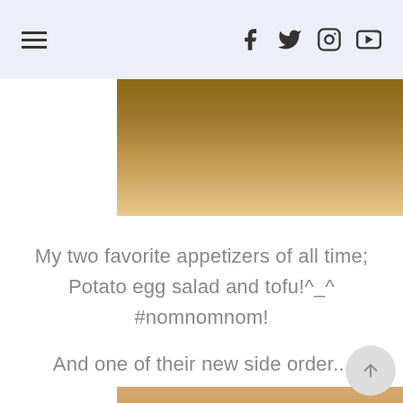Navigation header with hamburger menu and social icons (Facebook, Twitter, Instagram, YouTube)
[Figure (photo): Close-up photo of a wooden surface or board on a table]
My two favorite appetizers of all time; Potato egg salad and tofu!^_^ #nomnomnom!
And one of their new side order...
[Figure (photo): Photo of a fried food dish served on a white plate with a bowl of white dipping sauce and a lemon wedge with mustard]